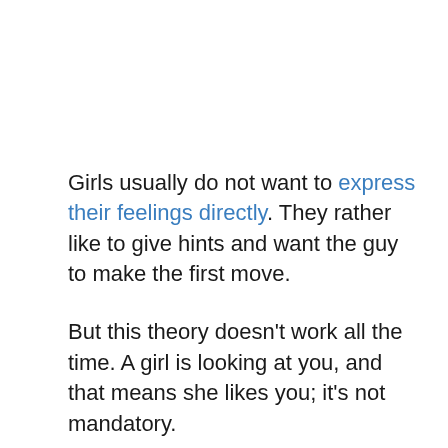Girls usually do not want to express their feelings directly. They rather like to give hints and want the guy to make the first move.
But this theory doesn't work all the time. A girl is looking at you, and that means she likes you; it's not mandatory.
Below we have shown several causes that will help you understand what does it mean when a girl stares at you without smiling.